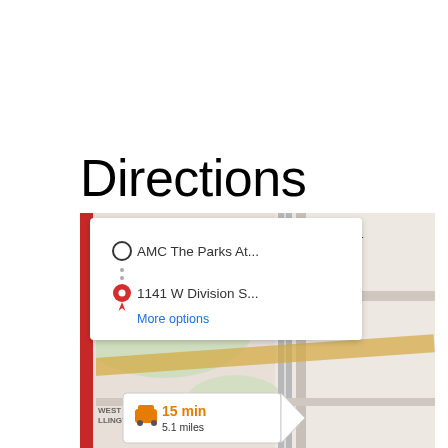Directions
[Figure (screenshot): Google Maps screenshot showing directions from AMC The Parks At... to 1141 W Division S... with a route overlay showing 15 min / 5.1 miles travel time. A popup dialog shows the two waypoints and a 'More options' link. The map shows 1141 West Division Street with a red pin and blue dot marker.]